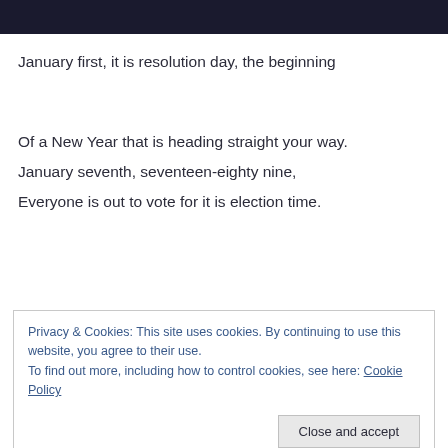[Figure (other): Dark navy header bar at top of page]
January first, it is resolution day, the beginning
Of a New Year that is heading straight your way.
January seventh, seventeen-eighty nine,
Everyone is out to vote for it is election time.
Privacy & Cookies: This site uses cookies. By continuing to use this website, you agree to their use.
To find out more, including how to control cookies, see here: Cookie Policy
Close and accept